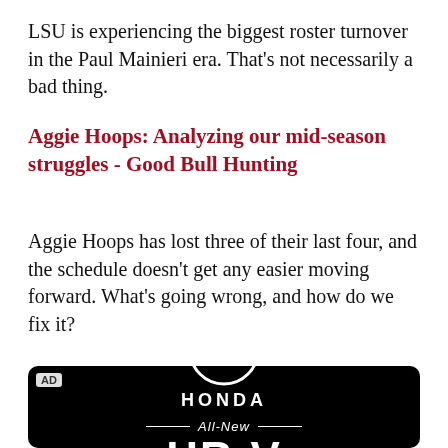LSU is experiencing the biggest roster turnover in the Paul Mainieri era. That's not necessarily a bad thing.
Aggie Hoops: Analyzing our mid-season struggles - Good Bull Hunting
Aggie Hoops has lost three of their last four, and the schedule doesn't get any easier moving forward. What's going wrong, and how do we fix it?
[Figure (advertisement): Honda HR-V advertisement on black background with Honda logo, 'All-New HR-V' text and 'Powered by determination.' tagline]